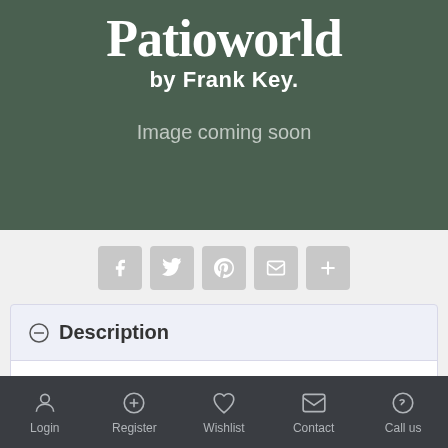[Figure (screenshot): Patioworld by Frank Key placeholder image with dark green background and 'Image coming soon' text]
[Figure (infographic): Social share buttons: Facebook, Twitter, Pinterest, Email, More (+)]
Description
Login   Register   Wishlist   Contact   Call us